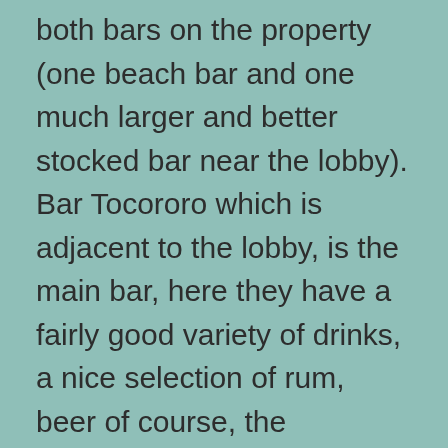both bars on the property (one beach bar and one much larger and better stocked bar near the lobby). Bar Tocororo which is adjacent to the lobby, is the main bar, here they have a fairly good variety of drinks, a nice selection of rum, beer of course, the mandatory Mojitos, and a selection of hand mixed cocktails which you can ask for by name, if they have the ingredients they will make it for you, very good coffee also available 24/7. An extremely obliging staff at this bar. Adjacent to the main bar they served a variety of toasted sandwiches, sandwich hours on our week were from about 11 a.m. until 6:30 p.m.. El